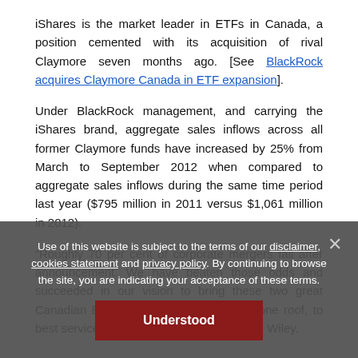iShares is the market leader in ETFs in Canada, a position cemented with its acquisition of rival Claymore seven months ago. [See BlackRock acquires Claymore Canada in ETF expansion].
Under BlackRock management, and carrying the iShares brand, aggregate sales inflows across all former Claymore funds have increased by 25% from March to September 2012 when compared to aggregate sales inflows during the same time period last year ($795 million in 2011 versus $1,061 million in 2012).
“Roughly 70 per cent of corporate mergers fail after announcement. We have beaten those odds and succeeded in our vision to bring these two great Canadian ETF providers together under one roof, to best service the needs of investors,” added Wiley.
Use of this website is subject to the terms of our disclaimer, cookies statement and privacy policy. By continuing to browse the site, you are indicating your acceptance of these terms.